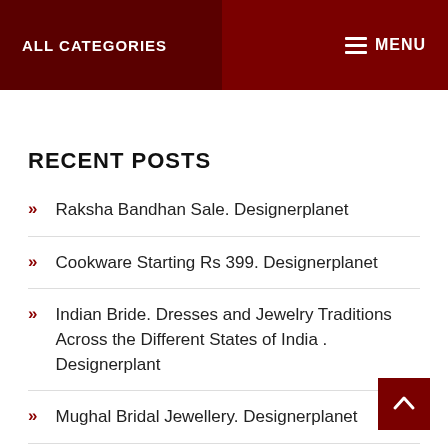ALL CATEGORIES   MENU
RECENT POSTS
Raksha Bandhan Sale. Designerplanet
Cookware Starting Rs 399. Designerplanet
Indian Bride. Dresses and Jewelry Traditions Across the Different States of India . Designerplant
Mughal Bridal Jewellery. Designerplanet